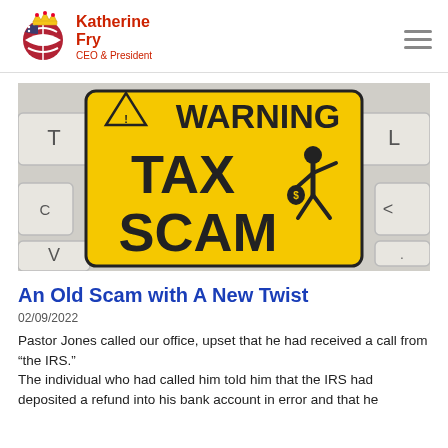Katherine Fry CEO & President
[Figure (photo): Warning Tax Scam sign on a keyboard background — yellow warning sign with black text reading WARNING TAX SCAM with a running thief icon carrying a money bag]
An Old Scam with A New Twist
02/09/2022
Pastor Jones called our office, upset that he had received a call from “the IRS.”
The individual who had called him told him that the IRS had deposited a refund into his bank account in error and that he